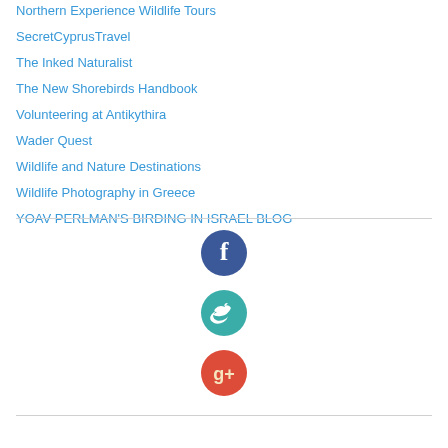Northern Experience Wildlife Tours
SecretCyprusTravel
The Inked Naturalist
The New Shorebirds Handbook
Volunteering at Antikythira
Wader Quest
Wildlife and Nature Destinations
Wildlife Photography in Greece
YOAV PERLMAN'S BIRDING IN ISRAEL BLOG
[Figure (illustration): Facebook circular icon - dark teal/blue circle with white F letter]
[Figure (illustration): Twitter circular icon - teal circle with white bird logo]
[Figure (illustration): Google+ circular icon - red/orange circle with white g+ text]